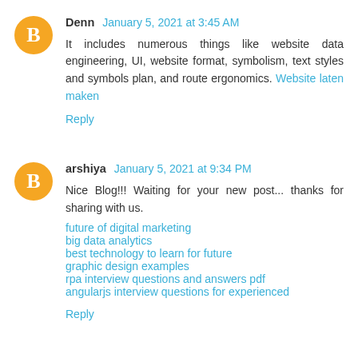Denn January 5, 2021 at 3:45 AM
It includes numerous things like website data engineering, UI, website format, symbolism, text styles and symbols plan, and route ergonomics. Website laten maken
Reply
arshiya January 5, 2021 at 9:34 PM
Nice Blog!!! Waiting for your new post... thanks for sharing with us.
future of digital marketing
big data analytics
best technology to learn for future
graphic design examples
rpa interview questions and answers pdf
angularjs interview questions for experienced
Reply